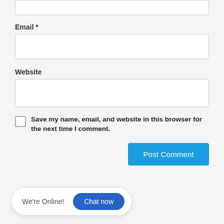[Figure (screenshot): Partial form input box at top (cropped, no label visible)]
Email *
[Figure (screenshot): Email input text field (empty)]
Website
[Figure (screenshot): Website input text field (empty)]
Save my name, email, and website in this browser for the next time I comment.
[Figure (screenshot): Post Comment button (blue)]
[Figure (screenshot): Chat widget: We're Online! Chat now button]